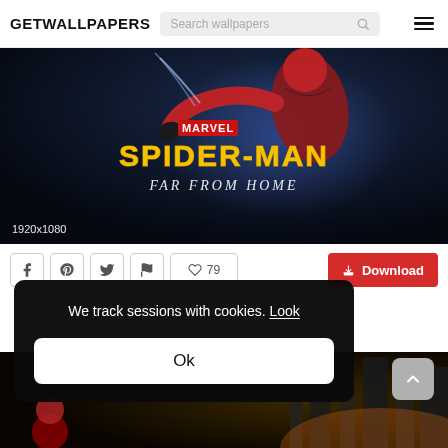GETWALLPAPERS
[Figure (screenshot): Spider-Man Far From Home Marvel movie wallpaper, 1920x1080. Dark background with Spider-Man in red suit and yellow/gold title lettering.]
1920x1080
79
Download
We track sessions with cookies. Look
Ok
[Figure (photo): Bottom strip showing another Spider-Man wallpaper with city background]